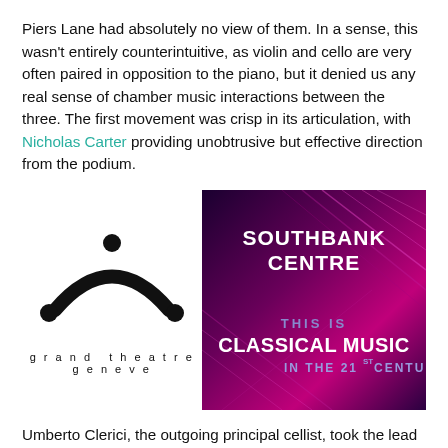Piers Lane had absolutely no view of them. In a sense, this wasn't entirely counterintuitive, as violin and cello are very often paired in opposition to the piano, but it denied us any real sense of chamber music interactions between the three. The first movement was crisp in its articulation, with Nicholas Carter providing unobtrusive but effective direction from the podium.
[Figure (logo): Grand Théâtre Genève logo: black arch with dots, text 'grand theatre geneve' below]
[Figure (photo): Southbank Centre promotional image with text 'SOUTHBANK CENTRE' and 'THIS IS CLASSICAL MUSIC IN THE 21ST CENTURY' on a dark purple/magenta background]
Umberto Clerici, the outgoing principal cellist, took the lead in the first and second movements with a panache that made his departure the more to be regretted. The link into the finale was magical, as the soloists weaved their figuration above the becalmed harmonies. In the finale, there was lots of fun in the duels between the strings...